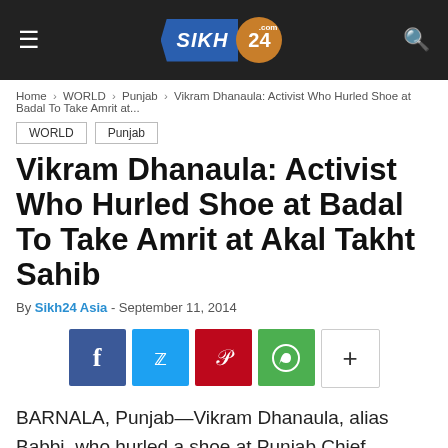SIKH 24 .com
Home › WORLD › Punjab › Vikram Dhanaula: Activist Who Hurled Shoe at Badal To Take Amrit at...
WORLD
Punjab
Vikram Dhanaula: Activist Who Hurled Shoe at Badal To Take Amrit at Akal Takht Sahib
By Sikh24 Asia - September 11, 2014
[Figure (other): Social sharing buttons: Facebook, Twitter, Pinterest, WhatsApp, and More]
BARNALA, Punjab—Vikram Dhanaula, alias Babbi, who hurled a shoe at Punjab Chief Minister Badal...